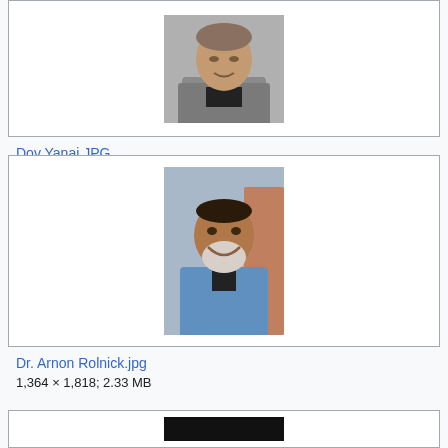[Figure (photo): Portrait photo of Dov Yanai, a man in a grey blazer and black turtleneck against a grey background]
Dov Yanai.JPG
2,848 × 4,288; 3.48 MB
[Figure (photo): Photo of Dr. Arnon Rolnick, a man with a white beard wearing a blue shirt, smiling outdoors]
Dr. Arnon Rolnick.jpg
1,364 × 1,818; 2.33 MB
[Figure (photo): Partial photo at bottom, mostly black, cut off]